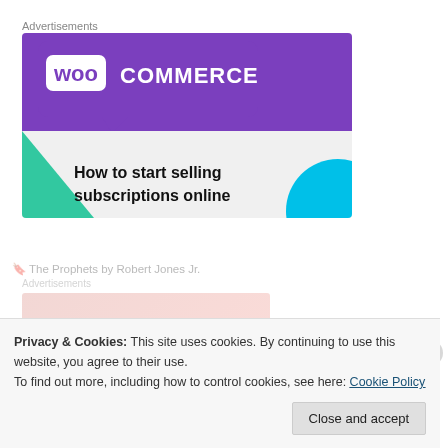Advertisements
[Figure (illustration): WooCommerce advertisement banner: purple header with WooCommerce logo, teal triangle shape bottom-left, cyan circle bottom-right, text reading 'How to start selling subscriptions online']
Privacy & Cookies: This site uses cookies. By continuing to use this website, you agree to their use. To find out more, including how to control cookies, see here: Cookie Policy
Close and accept